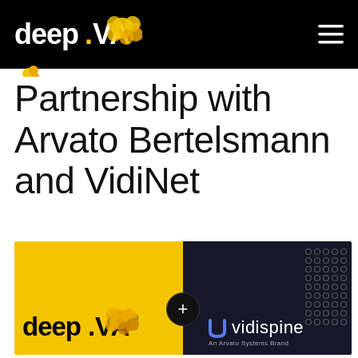deep.va
Partnership with Arvato Bertelsmann and VidiNet
[Figure (logo): Partnership image showing deep.va logo on yellow background on left, and Vidispine (An Arvato Systems Brand) logo on dark background on right, with a plus sign circle in the center]